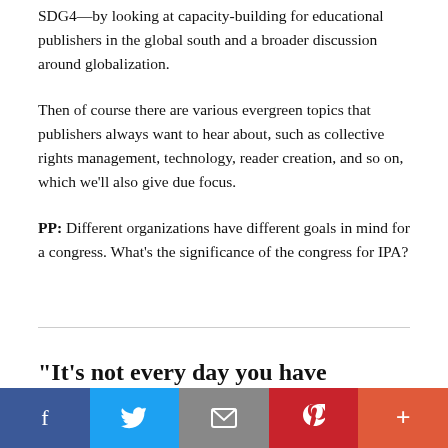SDG4—by looking at capacity-building for educational publishers in the global south and a broader discussion around globalization.
Then of course there are various evergreen topics that publishers always want to hear about, such as collective rights management, technology, reader creation, and so on, which we'll also give due focus.
PP: Different organizations have different goals in mind for a congress. What's the significance of the congress for IPA?
“It’s not every day you have